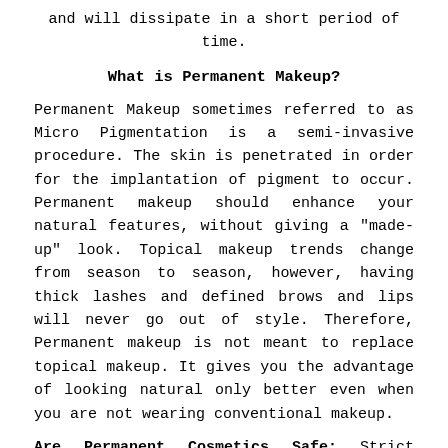and will dissipate in a short period of time.
What is Permanent Makeup?
Permanent Makeup sometimes referred to as Micro Pigmentation is a semi-invasive procedure. The skin is penetrated in order for the implantation of pigment to occur. Permanent makeup should enhance your natural features, without giving a "made-up" look. Topical makeup trends change from season to season, however, having thick lashes and defined brows and lips will never go out of style. Therefore, Permanent makeup is not meant to replace topical makeup. It gives you the advantage of looking natural only better even when you are not wearing conventional makeup.
Are Permanent Cosmetics Safe: Strict sanitation and sterilization guidelines are followed. Single-use, disposable needles are used with each application.